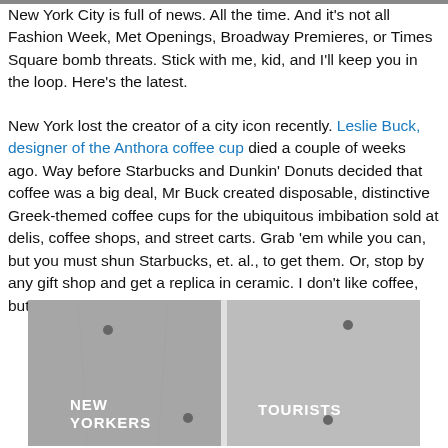New York City is full of news. All the time. And it's not all Fashion Week, Met Openings, Broadway Premieres, or Times Square bomb threats. Stick with me, kid, and I'll keep you in the loop. Here's the latest.
New York lost the creator of a city icon recently. Leslie Buck, designer of the Anthora coffee cup died a couple of weeks ago. Way before Starbucks and Dunkin' Donuts decided that coffee was a big deal, Mr Buck created disposable, distinctive Greek-themed coffee cups for the ubiquitous imbibation sold at delis, coffee shops, and street carts. Grab 'em while you can, but you must shun Starbucks, et. al., to get them. Or, stop by any gift shop and get a replica in ceramic. I don't like coffee, but I love the cup. Cheers, Mr. Buck!
[Figure (photo): Black and white photo of a sidewalk divided by a white line, with 'NEW YORKERS' stenciled on the left side and 'TOURISTS' stenciled on the right side.]